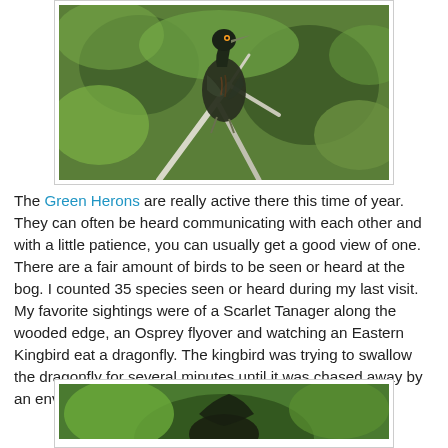[Figure (photo): Green Heron bird perched among green grass and white branches]
The Green Herons are really active there this time of year. They can often be heard communicating with each other and with a little patience, you can usually get a good view of one. There are a fair amount of birds to be seen or heard at the bog. I counted 35 species seen or heard during my last visit. My favorite sightings were of a Scarlet Tanager along the wooded edge, an Osprey flyover and watching an Eastern Kingbird eat a dragonfly. The kingbird was trying to swallow the dragonfly for several minutes until it was chased away by an envious Eastern Phoebe.
[Figure (photo): Partial view of another bird photo at the bottom of the page]